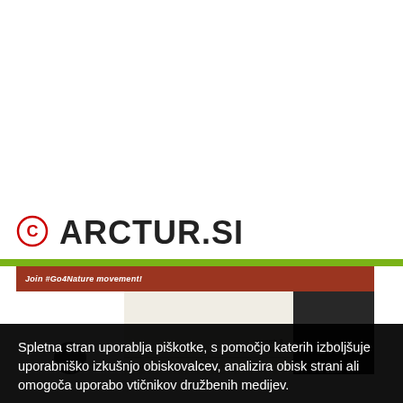[Figure (screenshot): Screenshot of arctur.si website showing logo with copyright symbol, green bar, red navigation bar with 'Join #Go4Nature movement!', and website content sections]
Spletna stran uporablja piškotke, s pomočjo katerih izboljšuje uporabniško izkušnjo obiskovalcev, analizira obisk strani ali omogoča uporabo vtičnikov družbenih medijev.
Z nadaljnjo uporabo strani se strinjate z uporabo piškotkov na strani.
Sprejmem    Več informacij o uporabi piškotkov na tej strani